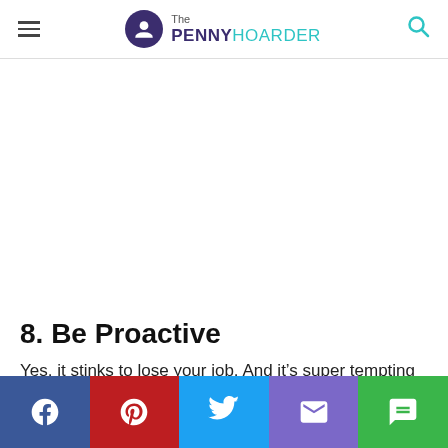The Penny Hoarder
8. Be Proactive
Yes, it stinks to lose your job. And it’s super tempting to sit on the couch, drink cheap beer and cry.
[Figure (other): Social share bar with Facebook, Pinterest, Twitter, Email, and Chat buttons]